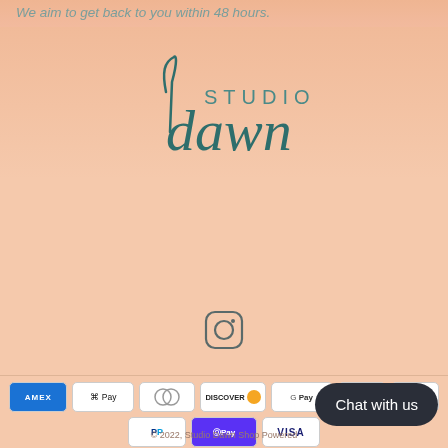We aim to get back to you within 48 hours.
[Figure (logo): Studio Dawn logo with cursive script]
[Figure (other): Instagram icon]
[Figure (other): Payment method badges: AMEX, Apple Pay, Diners Club, Discover, Google Pay, Maestro, Mastercard, PayPal, Shop Pay, VISA]
© 2022, Studio Dawn Shop Powered
Chat with us